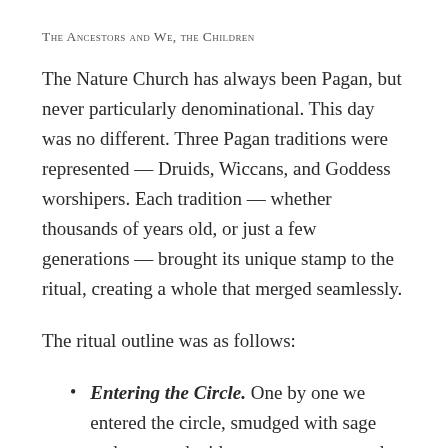The Ancestors and We, the Children
The Nature Church has always been Pagan, but never particularly denominational. This day was no different. Three Pagan traditions were represented — Druids, Wiccans, and Goddess worshipers. Each tradition — whether thousands of years old, or just a few generations — brought its unique stamp to the ritual, creating a whole that merged seamlessly.
The ritual outline was as follows:
Entering the Circle. One by one we entered the circle, smudged with sage and asperged with water as we crossed